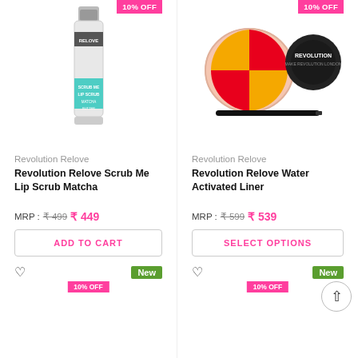[Figure (photo): Revolution Relove Scrub Me Lip Scrub Matcha product photo - tall tube with teal label, 10% OFF badge]
[Figure (photo): Revolution Relove Water Activated Liner product photo - round open compact with red/yellow color and black lid and liner brush, 10% OFF badge]
Revolution Relove
Revolution Relove
Revolution Relove Scrub Me Lip Scrub Matcha
Revolution Relove Water Activated Liner
MRP : ₹ 499  ₹ 449
MRP : ₹ 599  ₹ 539
ADD TO CART
SELECT OPTIONS